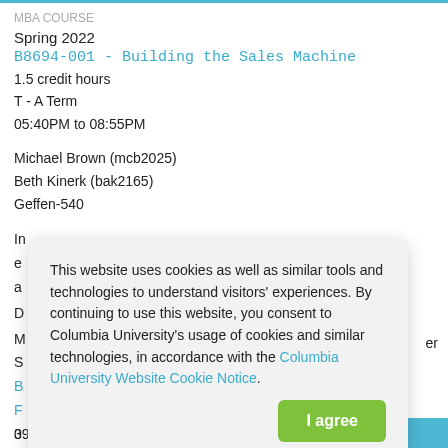MBA COURSE
Spring 2022
B8694-001 - Building the Sales Machine
1.5 credit hours
T - A Term
05:40PM to 08:55PM
Michael Brown (mcb2025)
Beth Kinerk (bak2165)
Geffen-540
In... [partially obscured text]
er...
a...
D...
M...
S...
B...
F...
3...
B...
This website uses cookies as well as similar tools and technologies to understand visitors' experiences. By continuing to use this website, you consent to Columbia University's usage of cookies and similar technologies, in accordance with the Columbia University Website Cookie Notice.
09:00AM to 05:00PM